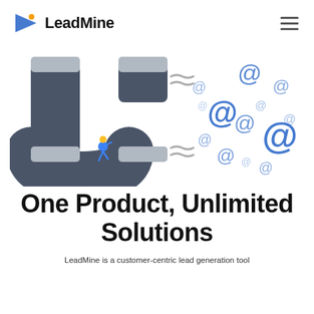LeadMine
[Figure (illustration): A horseshoe magnet (dark grey/slate colored) with a small person sitting on it, attracting multiple blue '@' email symbols of various sizes floating to the right, representing email lead generation.]
One Product, Unlimited Solutions
LeadMine is a customer-centric lead generation tool